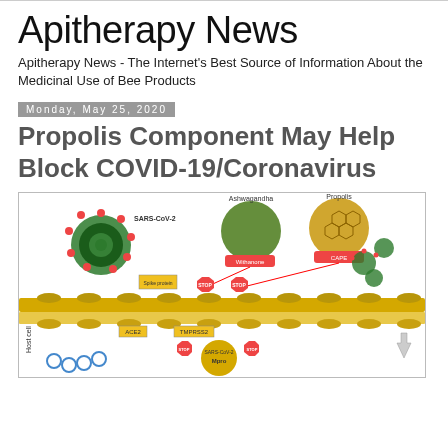Apitherapy News
Apitherapy News - The Internet's Best Source of Information About the Medicinal Use of Bee Products
Monday, May 25, 2020
Propolis Component May Help Block COVID-19/Coronavirus
[Figure (illustration): Scientific diagram showing SARS-CoV-2 virus interacting with host cell membrane via Spike protein, ACE2, and TMPRSS2 receptors. Shows Ashwagandha (Withanone) and Propolis (CAPE) as blocking agents with red STOP signs. Host cell interior shown at bottom left with SARS-CoV-2 Mpro. Virus particles shown upper right. Yellow lipid bilayer membrane depicted across middle.]